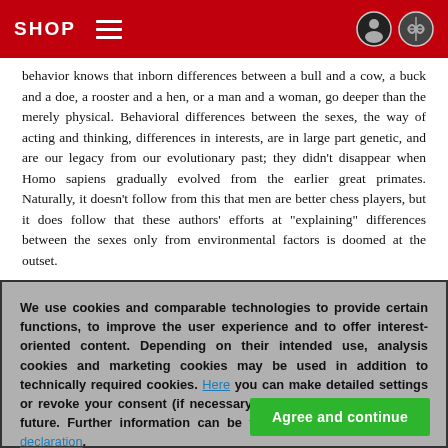SHOP
behavior knows that inborn differences between a bull and a cow, a buck and a doe, a rooster and a hen, or a man and a woman, go deeper than the merely physical. Behavioral differences between the sexes, the way of acting and thinking, differences in interests, are in large part genetic, and are our legacy from our evolutionary past; they didn't disappear when Homo sapiens gradually evolved from the earlier great primates. Naturally, it doesn't follow from this that men are better chess players, but it does follow that these authors' efforts at "explaining" differences between the sexes only from environmental factors is doomed at the outset.
We use cookies and comparable technologies to provide certain functions, to improve the user experience and to offer interest-oriented content. Depending on their intended use, analysis cookies and marketing cookies may be used in addition to technically required cookies. Here you can make detailed settings or revoke your consent (if necessary partially) with effect for the future. Further information can be found in our data protection declaration.